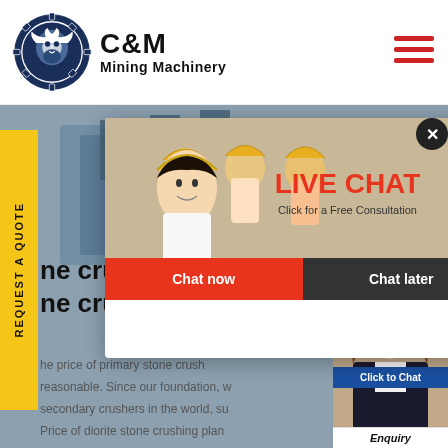[Figure (logo): C&M Mining Machinery logo with eagle/gear icon in navy blue circle, company name in bold black text]
[Figure (photo): Industrial mining machinery equipment background photo with workers in yellow hard hats]
[Figure (screenshot): Live chat popup overlay with workers photo, LIVE CHAT text in red, Chat now and Chat later buttons, close X button]
ne crusher plant price ne crusher plant
he price of primary stone crush reasonable. Since our foundation, w secondary crushers in the world, su Price of diorite stone crushing plan